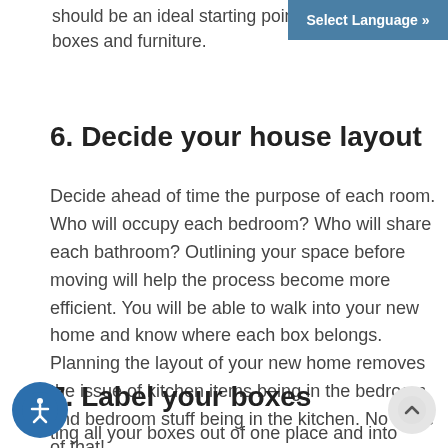should be an ideal starting point boxes and furniture.
Select Language »
6. Decide your house layout
Decide ahead of time the purpose of each room. Who will occupy each bedroom? Who will share each bathroom? Outlining your space before moving will help the process become more efficient. You will be able to walk into your new home and know where each box belongs. Planning the layout of your new home removes the issue of kitchen items being in the bedroom and bedroom stuff being in the kitchen. No more of that!
7. Label your boxes
ting all your boxes out of one place and into another